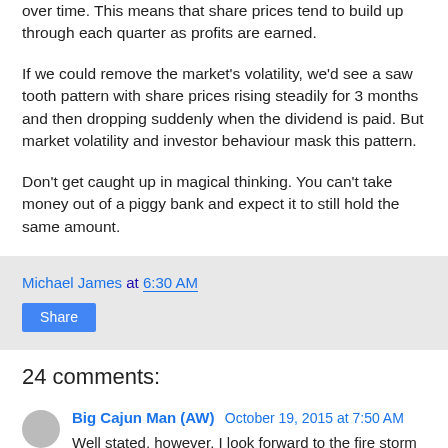over time. This means that share prices tend to build up through each quarter as profits are earned.
If we could remove the market's volatility, we'd see a saw tooth pattern with share prices rising steadily for 3 months and then dropping suddenly when the dividend is paid. But market volatility and investor behaviour mask this pattern.
Don't get caught up in magical thinking. You can't take money out of a piggy bank and expect it to still hold the same amount.
Michael James at 6:30 AM
Share
24 comments:
Big Cajun Man (AW)  October 19, 2015 at 7:50 AM
Well stated, however, I look forward to the fire storm of